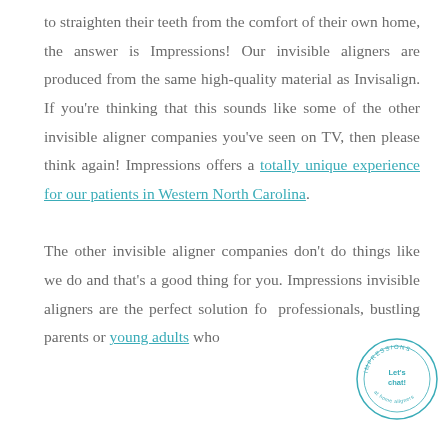to straighten their teeth from the comfort of their own home, the answer is Impressions! Our invisible aligners are produced from the same high-quality material as Invisalign. If you're thinking that this sounds like some of the other invisible aligner companies you've seen on TV, then please think again! Impressions offers a totally unique experience for our patients in Western North Carolina. The other invisible aligner companies don't do things like we do and that's a good thing for you. Impressions invisible aligners are the perfect solution for professionals, bustling parents or young adults who
[Figure (logo): Circular badge logo with 'IMPRESSIONS' text around the top arc, 'at home aligners' around the bottom arc, and 'Let's chat!' in teal in the center. Teal and white color scheme.]